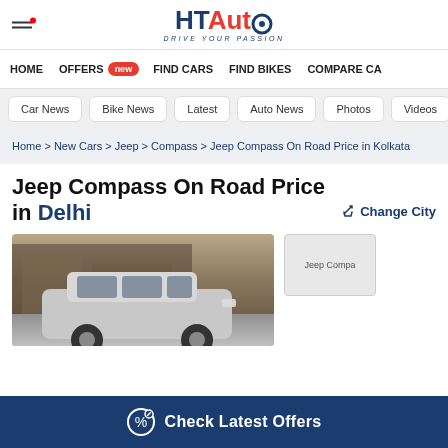HT Auto - Drive Your Passion
HOME
OFFERS new
FIND CARS
FIND BIKES
COMPARE CA
Car News
Bike News
Latest
Auto News
Photos
Videos
Home > New Cars > Jeep > Compass > Jeep Compass On Road Price in Kolkata
Jeep Compass On Road Price in Delhi
✏ Change City
[Figure (photo): Jeep Compass car photo]
Jeep Compass thumbnail image